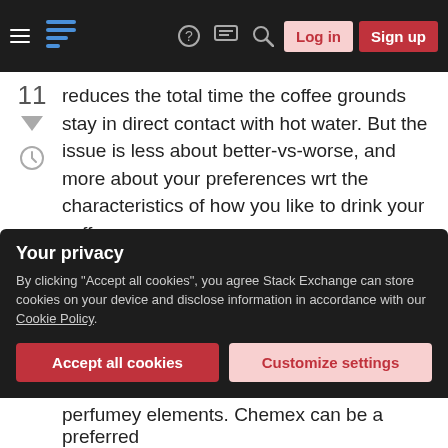[Figure (screenshot): Website navigation bar with hamburger menu, Stack Exchange logo (blue lines icon), question mark, speech bubble, search icon, Log in button, and Sign up button on dark background]
reduces the total time the coffee grounds stay in direct contact with hot water. But the issue is less about better-vs-worse, and more about your preferences wrt the characteristics of how you like to drink your coffee.
French Press yields, assuming all else is the same, an earthier, more viscous brew with more pronounced bitter notes that many people prefer. This is related to the presence of oils and suspended microparticles, much of which the Chemex filter removes.
Your privacy
By clicking "Accept all cookies", you agree Stack Exchange can store cookies on your device and disclose information in accordance with our Cookie Policy.
perfumey elements. Chemex can be a preferred